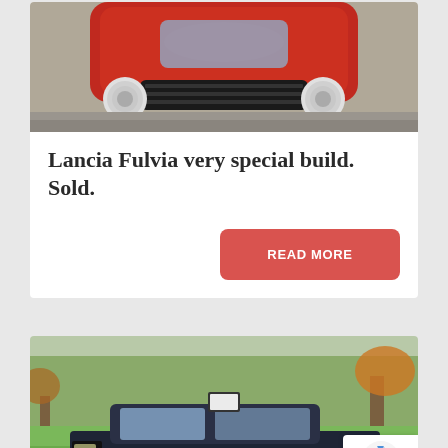[Figure (photo): Front view of a red vintage Lancia Fulvia car, photographed from above showing headlights and grille]
Lancia Fulvia very special build. Sold.
READ MORE
[Figure (photo): Dark blue/navy vintage car (Lancia) parked on a grass lawn with autumn trees in the background, a small sign on roof, and a reCAPTCHA badge overlay in the bottom right]